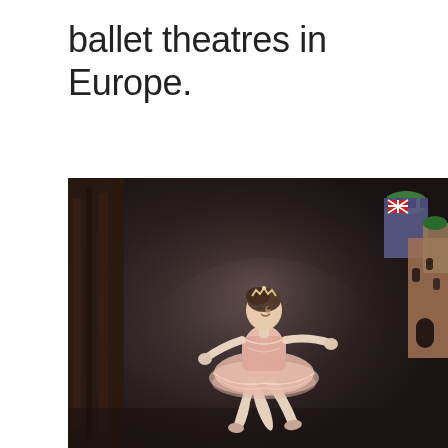ballet theatres in Europe.
[Figure (photo): A female ballet dancer in a pink tutu and tiara leaping on stage, arms extended, against a dark background with colorful fairy-tale castle set pieces visible on the right.]